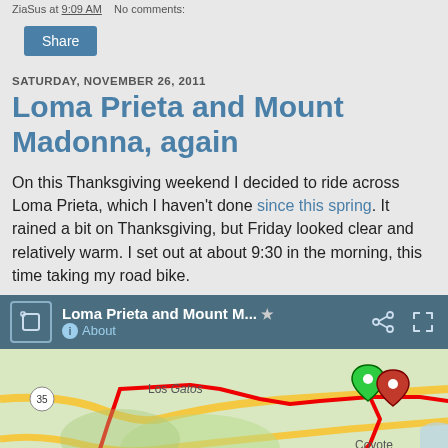ZiaSus at 9:09 AM   No comments:
Share
SATURDAY, NOVEMBER 26, 2011
Loma Prieta and Mount Madonna, again
On this Thanksgiving weekend I decided to ride across Loma Prieta, which I haven't done since this spring. It rained a bit on Thanksgiving, but Friday looked clear and relatively warm. I set out at about 9:30 in the morning, this time taking my road bike.
[Figure (map): Google Maps screenshot showing a cycling route near Los Gatos, Sierra Azul Open Space area with a red route line, green start pin, and red/orange end pin. Route number 35 and 101 visible. Coyote labeled on right side.]